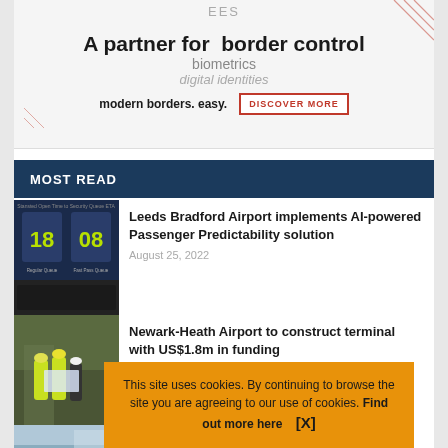[Figure (illustration): Advertisement banner for EES border control biometrics and digital identities solution, with decorative diagonal lines, tagline 'modern borders. easy.' and a DISCOVER MORE button]
MOST READ
[Figure (photo): Airport display board showing numbers 18 and 08 in yellow-green digits on dark background]
Leeds Bradford Airport implements AI-powered Passenger Predictability solution
August 25, 2022
[Figure (photo): Construction workers in hi-vis yellow jackets and hard hats reviewing plans at a building site]
Newark-Heath Airport to construct terminal with US$1.8m in funding
This site uses cookies. By continuing to browse the site you are agreeing to our use of cookies. Find out more here    [X]